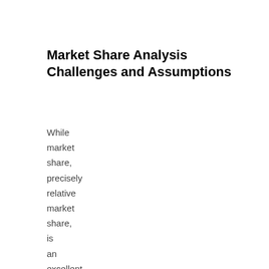Market Share Analysis Challenges and Assumptions
While market share, precisely relative market share, is an excellent metric to measure your firm's or brand's leadership or lack of in a given